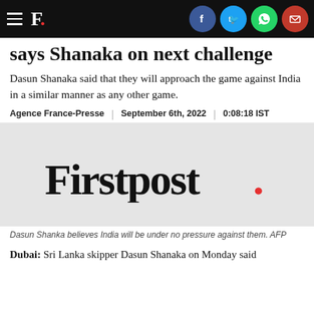F. [Firstpost logo with social icons: Facebook, Twitter, WhatsApp, Email]
says Shanaka on next challenge
Dasun Shanaka said that they will approach the game against India in a similar manner as any other game.
Agence France-Presse | September 6th, 2022 | 0:08:18 IST
[Figure (logo): Firstpost. logo in large black serif font with red period, on grey background]
Dasun Shanka believes India will be under no pressure against them. AFP
Dubai: Sri Lanka skipper Dasun Shanaka on Monday said